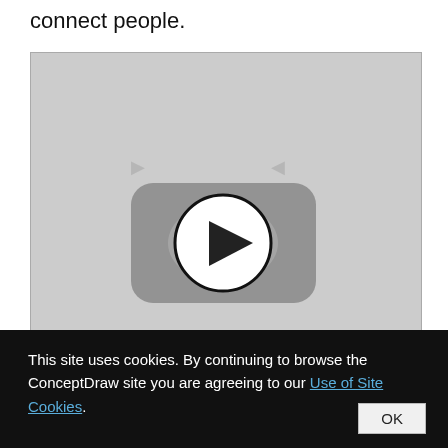connect people.
[Figure (screenshot): Video thumbnail placeholder with YouTube-style play button (rounded rectangle icon with a circle play arrow in the center), rendered in greyscale]
This site uses cookies. By continuing to browse the ConceptDraw site you are agreeing to our Use of Site Cookies.